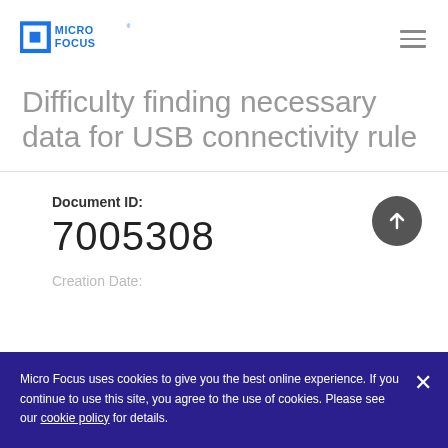Micro Focus logo and navigation menu
Difficulty finding necessary data for USB connectivity rule
Document ID: 7005308
Creation Date:
Micro Focus uses cookies to give you the best online experience. If you continue to use this site, you agree to the use of cookies. Please see our cookie policy for details.